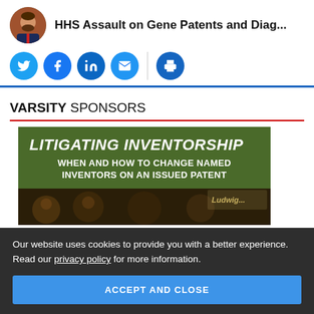HHS Assault on Gene Patents and Diag...
[Figure (illustration): Circular avatar photo of a man with beard wearing a suit, in front of a brick wall background]
[Figure (infographic): Social media sharing buttons: Twitter, Facebook, LinkedIn, Email, Print — blue circular icons]
VARSITY SPONSORS
[Figure (illustration): Green banner advertisement: LITIGATING INVENTORSHIP — WHEN AND HOW TO CHANGE NAMED INVENTORS ON AN ISSUED PATENT, with background photo of people]
Our website uses cookies to provide you with a better experience. Read our privacy policy for more information.
ACCEPT AND CLOSE